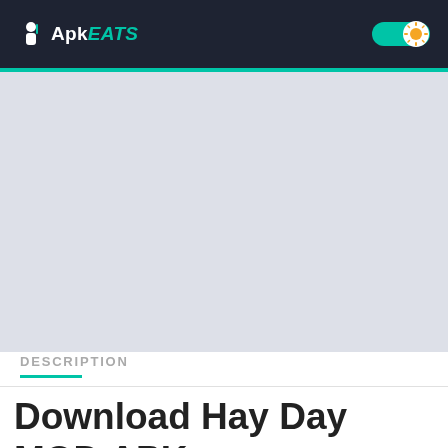ApkEATS
[Figure (screenshot): Large gray placeholder banner area below the navigation header]
DESCRIPTION
Download Hay Day MOD APK